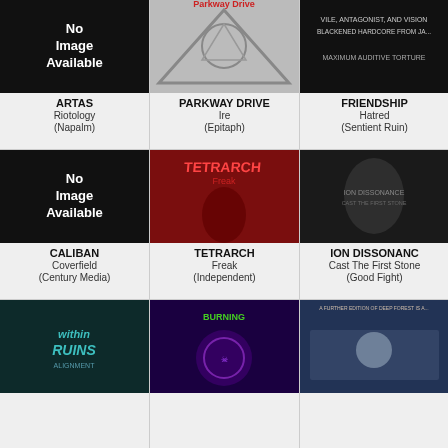[Figure (illustration): Album cover - No Image Available (black background with white text)]
ARTAS
Riotology
(Napalm)
[Figure (photo): Parkway Drive - Ire album cover, grey geometric design]
PARKWAY DRIVE
Ire
(Epitaph)
[Figure (photo): Friendship - Hatred album cover, dark with text]
FRIENDSHIP
Hatred
(Sentient Ruin)
[Figure (illustration): No Image Available - black background with white text]
CALIBAN
Coverfield
(Century Media)
[Figure (photo): Tetrarch - Freak album cover, red toned demonic figure]
TETRARCH
Freak
(Independent)
[Figure (photo): Ion Dissonance album cover, grey dark figure]
ION DISSONANCE
Cast The First Stone
(Good Fight)
[Figure (photo): Within Ruins - Alignment album cover, teal/dark]
[Figure (photo): Burning album cover, purple skull design]
[Figure (photo): Blue/dark album cover partially visible]